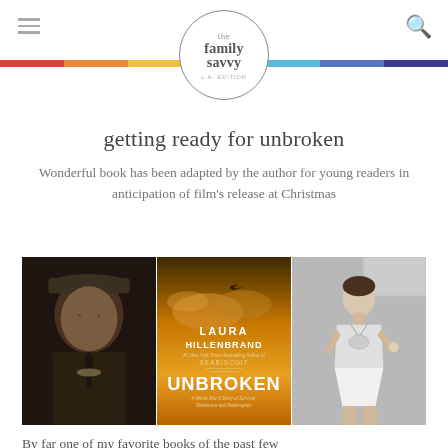the family savvy L.A. EDITION
getting ready for unbroken
Wonderful book has been adapted by the author for young readers in anticipation of film's release at Christmas
[Figure (photo): Three side-by-side photos: elderly man in military cap, book cover of Unbroken by Laura Hillenbrand, and young male athlete in track uniform]
By far one of my favorite books of the past few